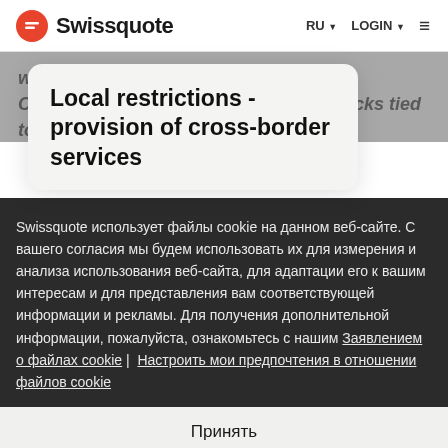Swissquote  RU ▼  LOGIN ▼  ≡
...with Swissquote Themed Trading Certificates. Based on a portfolio of stocks tied to...
Local restrictions - provision of cross-border services
Swissquote использует файлы cookie на данном веб-сайте. С вашего согласия мы будем использовать их для измерения и анализа использования веб-сайта, для адаптации его к вашим интересам и для представления вам соответствующей информации и рекламы. Для получения дополнительной информации, пожалуйста, ознакомьтесь с нашим Заявлением о файлах cookie |  Настроить мои предпочтения в отношении файлов cookie
Принять